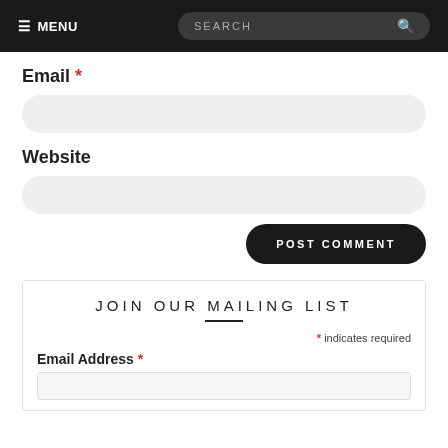☰ MENU  SEARCH
Email *
Website
POST COMMENT
JOIN OUR MAILING LIST
* indicates required
Email Address *